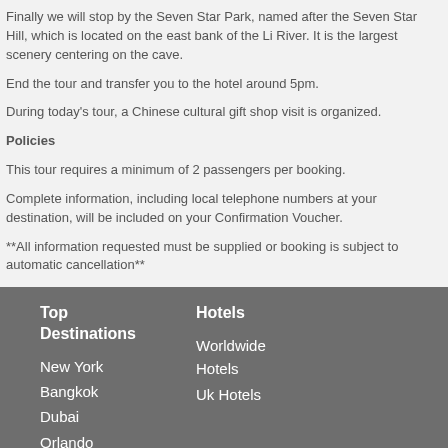Finally we will stop by the Seven Star Park, named after the Seven Star Hill, which is located on the east bank of the Li River. It is the largest scenery centering on the cave.
End the tour and transfer you to the hotel around 5pm.
During today's tour, a Chinese cultural gift shop visit is organized.
Policies
This tour requires a minimum of 2 passengers per booking.
Complete information, including local telephone numbers at your destination, will be included on your Confirmation Voucher.
**All information requested must be supplied or booking is subject to automatic cancellation**
Top Destinations
Hotels
New York
Bangkok
Dubai
Orlando
Sydney
Los
Worldwide Hotels
Uk Hotels